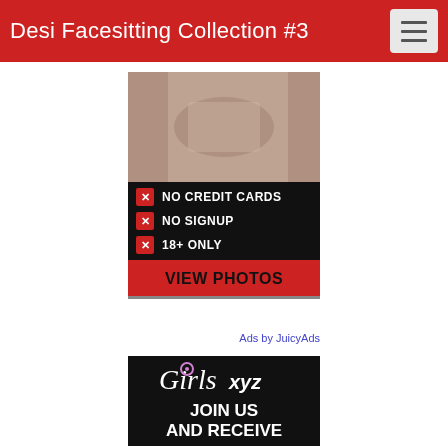Desi Facesitting Collection #3
[Figure (infographic): Adult advertisement banner: top half shows a photo, lower half black background with red X icons and text: NO CREDIT CARDS, NO SIGNUP, 18+ ONLY, and a red VIEW PHOTOS button]
Ads by JuicyAds
[Figure (infographic): Girls.xyz advertisement banner on black background with Girls xyz logo and JOIN US AND RECEIVE text]